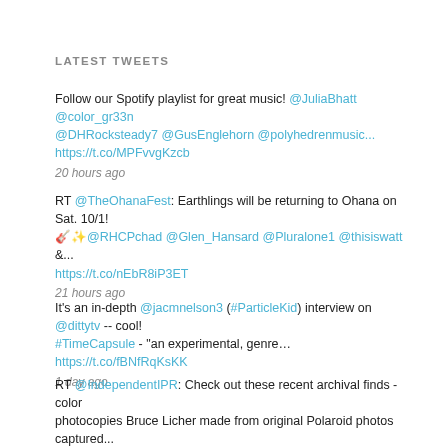LATEST TWEETS
Follow our Spotify playlist for great music! @JuliaBhatt @color_gr33n @DHRocksteady7 @GusEnglehorn @polyhedrenmusic... https://t.co/MPFvvgKzcb
20 hours ago
RT @TheOhanaFest: Earthlings will be returning to Ohana on Sat. 10/1! 🎸✨@RHCPchad @Glen_Hansard @Pluralone1 @thisiswatt &... https://t.co/nEbR8iP3ET
21 hours ago
It's an in-depth @jacmnelson3 (#ParticleKid) interview on @dittytv -- cool! #TimeCapsule - "an experimental, genre... https://t.co/fBNfRqKsKK
1 day ago
RT @IndependentIPR: Check out these recent archival finds - color photocopies Bruce Licher made from original Polaroid photos captured... https://t.co/58QxKQQaCM
2 days ago